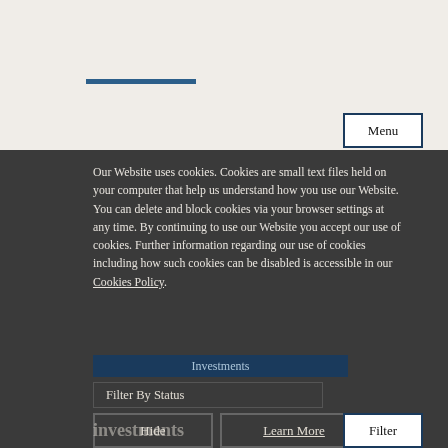[Figure (other): Top navigation area with blue underline accent and light beige background]
Menu
Our Website uses cookies. Cookies are small text files held on your computer that help us understand how you use our Website. You can delete and block cookies via your browser settings at any time. By continuing to use our Website you accept our use of cookies. Further information regarding our use of cookies including how such cookies can be disabled is accessible in our Cookies Policy.
Filter By Status
Hide
Learn More
Filter
investments